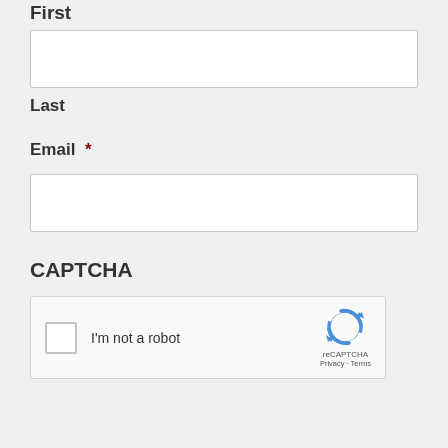First
[Figure (other): Empty text input field for First name]
Last
Email *
[Figure (other): Empty text input field for Email]
CAPTCHA
[Figure (other): reCAPTCHA widget with checkbox labeled 'I'm not a robot' and reCAPTCHA logo with Privacy and Terms links]